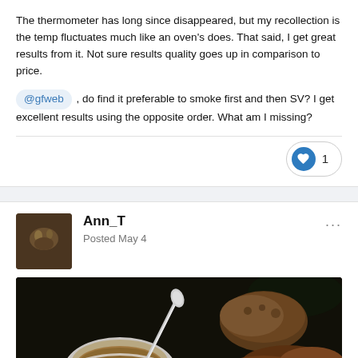The thermometer has long since disappeared, but my recollection is the temp fluctuates much like an oven's does. That said, I get great results from it. Not sure results quality goes up in comparison to price.
@gfweb , do find it preferable to smoke first and then SV? I get excellent results using the opposite order. What am I missing?
♥ 1
Ann_T
Posted May 4
[Figure (photo): Dark moody food photo showing a white ceramic bowl of soup with a spoon, surrounded by bread rolls and what appears to be sausages on a dark background]